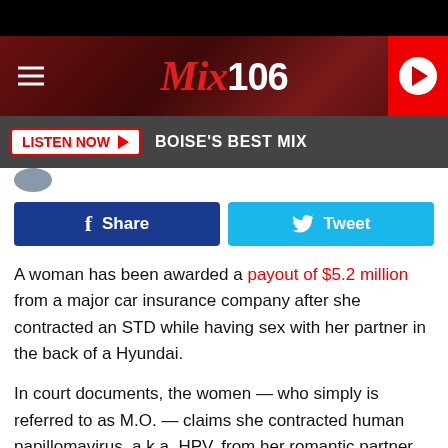[Figure (logo): Mix106 radio station logo on dark red/brown textured banner header with hamburger menu icon on left and red play button on right]
LISTEN NOW ▶   BOISE'S BEST MIX
[Figure (infographic): Facebook Share button (blue) and Twitter Tweet button (light blue) side by side]
A woman has been awarded a payout of $5.2 million from a major car insurance company after she contracted an STD while having sex with her partner in the back of a Hyundai.
In court documents, the women — who simply is referred to as M.O. — claims she contracted human papillomavirus, a.k.a. HPV, from her romantic partner while they were getting intimate in the backseat of his car.
Documents reveal the man knew he had HPV, yet he